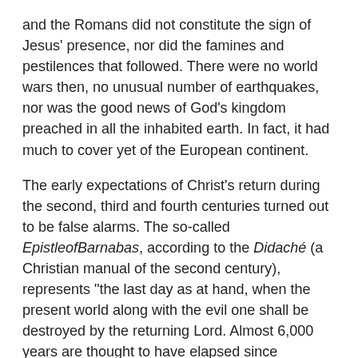and the Romans did not constitute the sign of Jesus' presence, nor did the famines and pestilences that followed. There were no world wars then, no unusual number of earthquakes, nor was the good news of God's kingdom preached in all the inhabited earth. In fact, it had much to cover yet of the European continent.
The early expectations of Christ's return during the second, third and fourth centuries turned out to be false alarms. The so-called Epistle of Barnabas, according to the Didaché (a Christian manual of the second century), represents "the last day as at hand, when the present world along with the evil one shall be destroyed by the returning Lord. Almost 6,000 years are thought to have elapsed since creation. . . . The seventh day of 1,000 years is about to begin with the Second Advent." Irenaeus supports Barnabas, "placing the end of the world